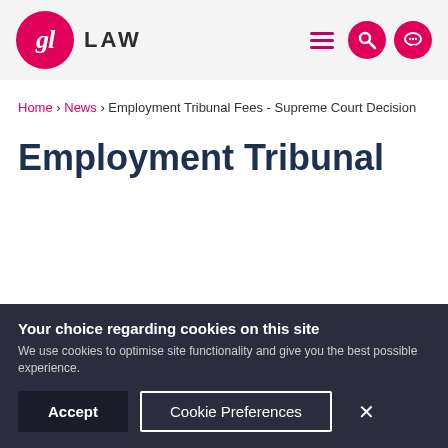[Figure (logo): GL Law logo - pink circle with 'gl' text in white, followed by 'LAW' in dark bold text, with hamburger menu, search and chat icons on the right]
Home > News > Employment Tribunal Fees - Supreme Court Decision
Employment Tribunal
Your choice regarding cookies on this site
We use cookies to optimise site functionality and give you the best possible experience.
Accept  Cookie Preferences  ×